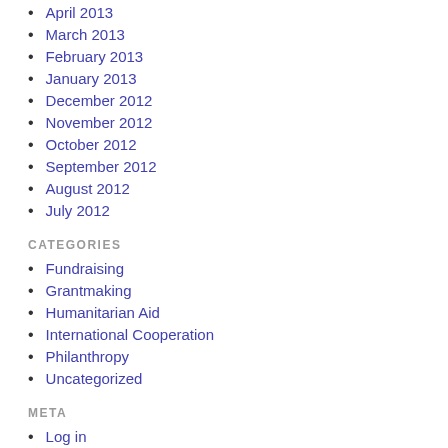April 2013
March 2013
February 2013
January 2013
December 2012
November 2012
October 2012
September 2012
August 2012
July 2012
CATEGORIES
Fundraising
Grantmaking
Humanitarian Aid
International Cooperation
Philanthropy
Uncategorized
META
Log in
Entries feed